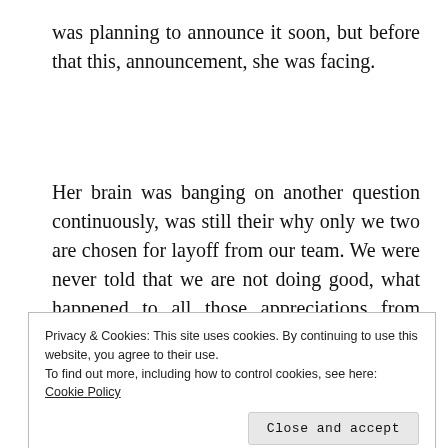was planning to announce it soon, but before that this, announcement, she was facing.
Her brain was banging on another question continuously, was still their why only we two are chosen for layoff from our team. We were never told that we are not doing good, what happened to all those appreciations from managers. Now she was carrieng a
Privacy & Cookies: This site uses cookies. By continuing to use this website, you agree to their use.
To find out more, including how to control cookies, see here: Cookie Policy
to be there, she wanted to go back directly from the